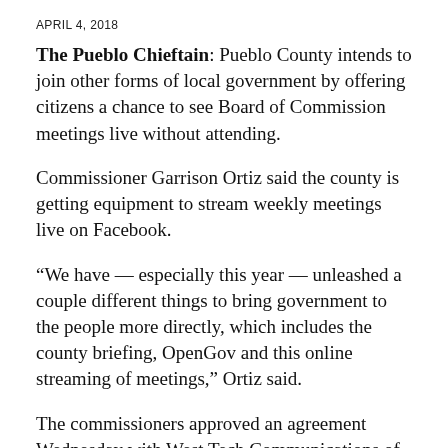APRIL 4, 2018
The Pueblo Chieftain: Pueblo County intends to join other forms of local government by offering citizens a chance to see Board of Commission meetings live without attending.
Commissioner Garrison Ortiz said the county is getting equipment to stream weekly meetings live on Facebook.
“We have — especially this year — unleashed a couple different things to bring government to the people more directly, which includes the county briefing, OpenGov and this online streaming of meetings,” Ortiz said.
The commissioners approved an agreement Wednesday with West Tech Communications of Southern Colorado Inc. to install an audio-visual system in the commissioners’ chambers. Ortiz